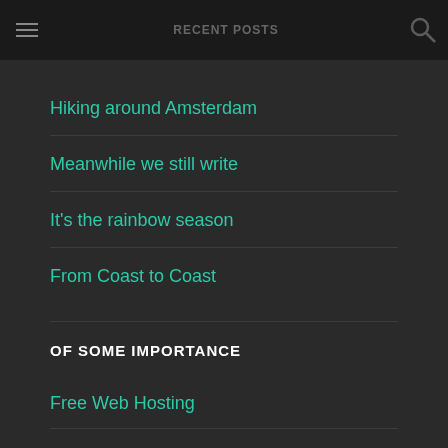RECENT POSTS
Hiking around Amsterdam
Meanwhile we still write
It's the rainbow season
From Coast to Coast
OF SOME IMPORTANCE
Free Web Hosting
Casa Robino
SEO Advies